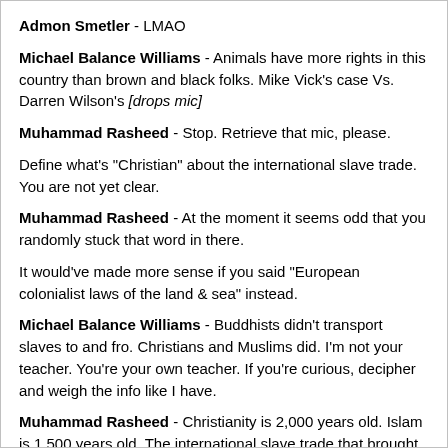Admon Smetler - LMAO
Michael Balance Williams - Animals have more rights in this country than brown and black folks. Mike Vick's case Vs. Darren Wilson's [drops mic]
Muhammad Rasheed - Stop. Retrieve that mic, please.
Define what's "Christian" about the international slave trade. You are not yet clear.
Muhammad Rasheed - At the moment it seems odd that you randomly stuck that word in there.
It would've made more sense if you said "European colonialist laws of the land & sea" instead.
Michael Balance Williams - Buddhists didn't transport slaves to and fro. Christians and Muslims did. I'm not your teacher. You're your own teacher. If you're curious, decipher and weigh the info like I have.
Muhammad Rasheed - Christianity is 2,000 years old. Islam is 1,500 years old. The international slave trade that brought Africans to America under a unique chattel slave institution based on race was only a few centuries old. If the laws of that system were "Christian," why didn't it begin 2,000 years ago and endure until the present? Why was it abolished? Why did Europe abolish them first? Why have there been legions of Christians & Muslims throughout the last 2,000 years who didn't